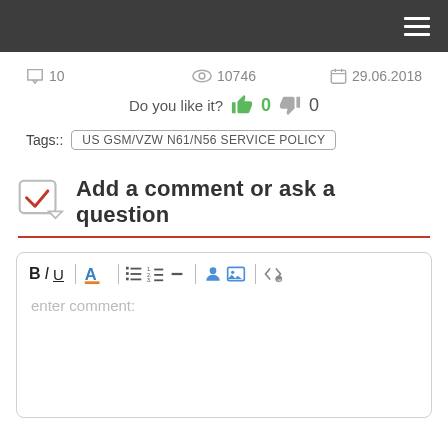navigation bar with hamburger menu
💬 10   👁 10746   📅 29.06.2018
Do you like it? 👍 0 👎 0
Tags:: US GSM/VZW N61/N56 SERVICE POLICY
Add a comment or ask a question
[Figure (screenshot): Comment text editor box with toolbar (B, I, U, font color, list tools, image/link tools, code tools) and placeholder text 'enter comment:']